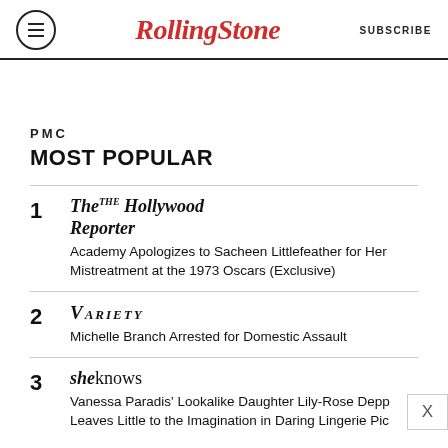RollingStone | SUBSCRIBE
PMC
MOST POPULAR
1 The Hollywood Reporter — Academy Apologizes to Sacheen Littlefeather for Her Mistreatment at the 1973 Oscars (Exclusive)
2 Variety — Michelle Branch Arrested for Domestic Assault
3 SheKnows — Vanessa Paradis' Lookalike Daughter Lily-Rose Depp Leaves Little to the Imagination in Daring Lingerie Pic